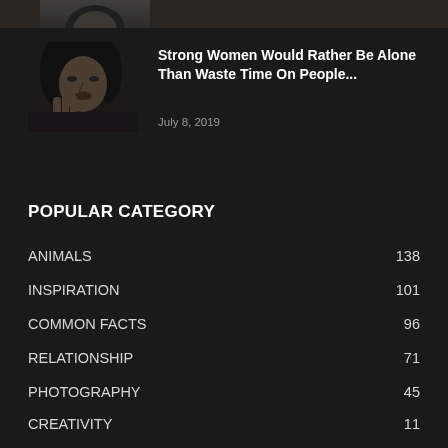[Figure (photo): Black and white portrait photo thumbnail at top of page, partially cropped]
[Figure (photo): Black and white portrait photo of a woman with her hand near her face]
Strong Women Would Rather Be Alone Than Waste Time On People...
July 8, 2019
POPULAR CATEGORY
ANIMALS 138
INSPIRATION 101
COMMON FACTS 96
RELATIONSHIP 71
PHOTOGRAPHY 45
CREATIVITY 11
HEALTH 10